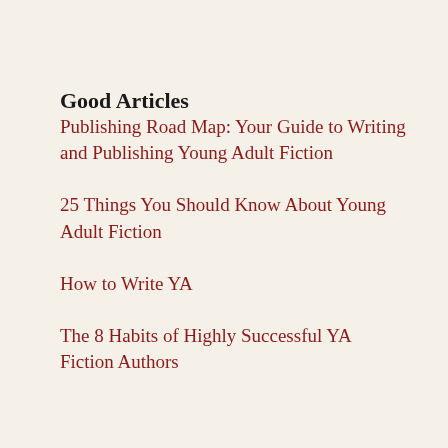Good Articles
Publishing Road Map: Your Guide to Writing and Publishing Young Adult Fiction
25 Things You Should Know About Young Adult Fiction
How to Write YA
The 8 Habits of Highly Successful YA Fiction Authors